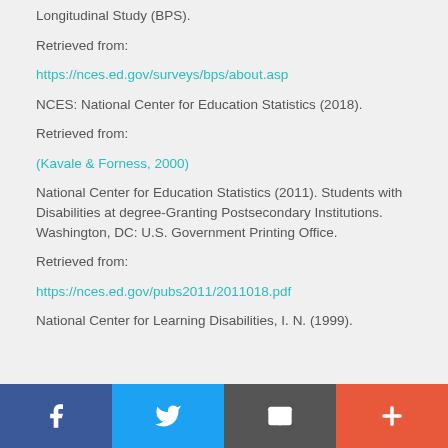Longitudinal Study (BPS).
Retrieved from:
https://nces.ed.gov/surveys/bps/about.asp
NCES: National Center for Education Statistics (2018).
Retrieved from:
(Kavale & Forness, 2000)
National Center for Education Statistics (2011). Students with Disabilities at degree-Granting Postsecondary Institutions. Washington, DC: U.S. Government Printing Office.
Retrieved from:
https://nces.ed.gov/pubs2011/2011018.pdf
National Center for Learning Disabilities, I. N. (1999).